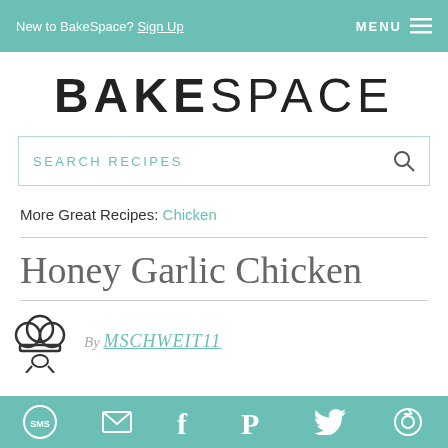New to BakeSpace? Sign Up   MENU
BAKESPACE
SEARCH RECIPES
More Great Recipes: Chicken
Honey Garlic Chicken
By MSCHWEIT11
SMS  Email  Facebook  Pinterest  Twitter  More